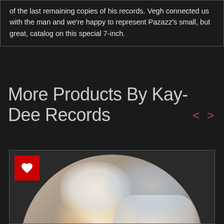of the last remaining copies of his records. Vegh connected us with the man and we're happy to represent Pazazz's small, but great, catalog on this special 7-inch.
More Products By Kay-Dee Records
[Figure (photo): Circular framed vintage photo of a woman with a towel on her head and a man in a white outfit leaning toward her, presented as an album cover product card with a red heart/favorite button in the top-left corner.]